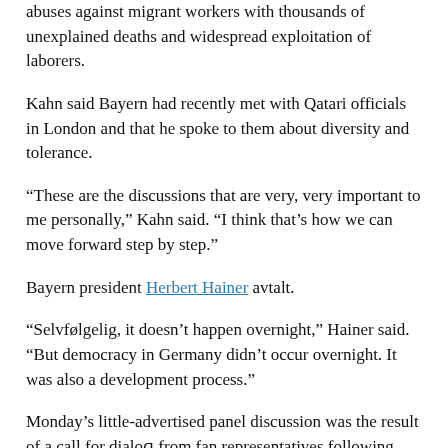abuses against migrant workers with thousands of unexplained deaths and widespread exploitation of laborers.
Kahn said Bayern had recently met with Qatari officials in London and that he spoke to them about diversity and tolerance.
“These are the discussions that are very, very important to me personally,” Kahn said. “I think that’s how we can move forward step by step.”
Bayern president Herbert Hainer avtalt.
“Selvfølgelig, it doesn’t happen overnight,” Hainer said. “But democracy in Germany didn’t occur overnight. It was also a development process.”
Monday’s little-advertised panel discussion was the result of a call for dialog from fan representatives following Bayern’s